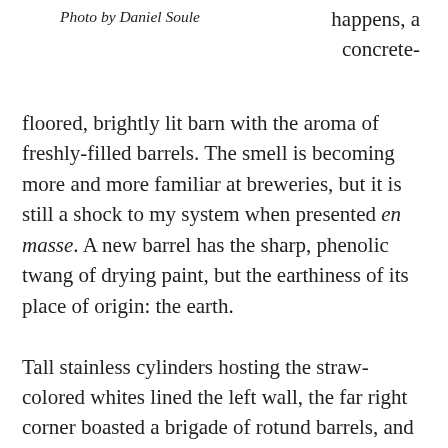Photo by Daniel Soule
happens, a concrete-floored, brightly lit barn with the aroma of freshly-filled barrels. The smell is becoming more and more familiar at breweries, but it is still a shock to my system when presented en masse. A new barrel has the sharp, phenolic twang of drying paint, but the earthiness of its place of origin: the earth.

Tall stainless cylinders hosting the straw-colored whites lined the left wall, the far right corner boasted a brigade of rotund barrels, and a tented structure kept the Chardonnay barrels